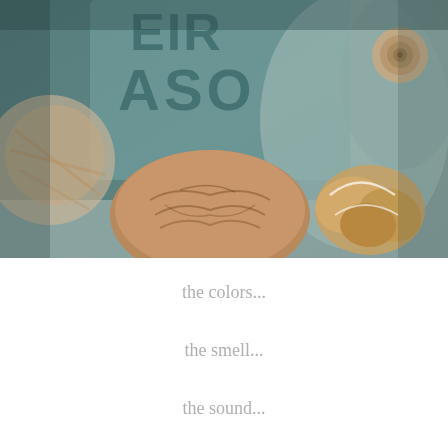[Figure (photo): Close-up macro photograph of natural objects including a walnut, seashells, twine/rope, and a stone or ceramic piece with embossed letters partially visible ('ASO'), in muted teal, brown and beige tones]
the colors...
the smell...
the sound...